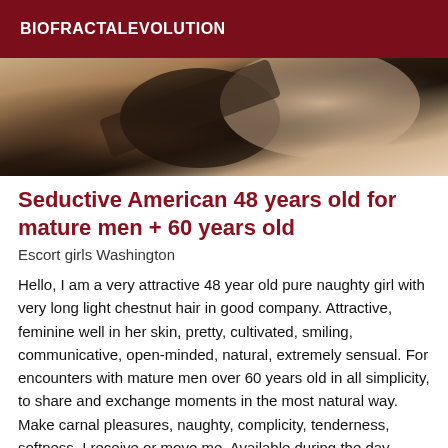BIOFRACTALEVOLUTION
[Figure (photo): Close-up photograph showing skin and dark fabric, cropped partial body image]
Seductive American 48 years old for mature men + 60 years old
Escort girls Washington
Hello, I am a very attractive 48 year old pure naughty girl with very long light chestnut hair in good company. Attractive, feminine well in her skin, pretty, cultivated, smiling, communicative, open-minded, natural, extremely sensual. For encounters with mature men over 60 years old in all simplicity, to share and exchange moments in the most natural way. Make carnal pleasures, naughty, complicity, tenderness, softness. I receive or move me. Available during the day, evening, night, weekend. More details by mail. (I provide, the